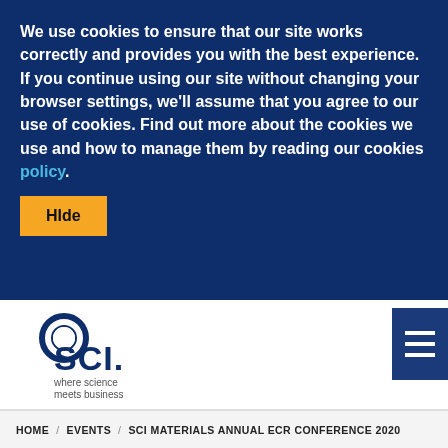We use cookies to ensure that our site works correctly and provides you with the best experience. If you continue using our site without changing your browser settings, we'll assume that you agree to our use of cookies. Find out more about the cookies we use and how to manage them by reading our cookies policy.
Hide
[Figure (logo): SCI logo - circle graphic with SCI text and tagline 'where science meets business']
[Figure (other): Hamburger menu icon button with three horizontal white lines on dark blue background]
HOME / EVENTS / SCI MATERIALS ANNUAL ECR CONFERENCE 2020